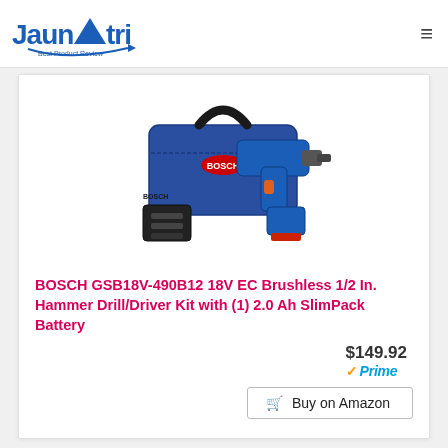Jaunatri Best Product Review
[Figure (photo): Bosch GSB18V-490B12 18V EC Brushless Hammer Drill/Driver Kit product photo showing drill, carrying bag, charger, and battery]
BOSCH GSB18V-490B12 18V EC Brushless 1/2 In. Hammer Drill/Driver Kit with (1) 2.0 Ah SlimPack Battery
$149.92 Prime
Buy on Amazon